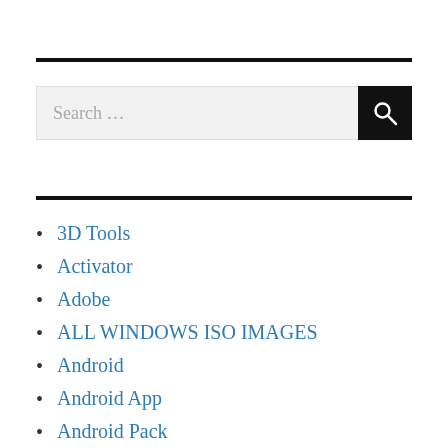[Figure (screenshot): Search bar with text 'Search ...' and a black search button with magnifying glass icon]
3D Tools
Activator
Adobe
ALL WINDOWS ISO IMAGES
Android
Android App
Android Pack
Android Tools